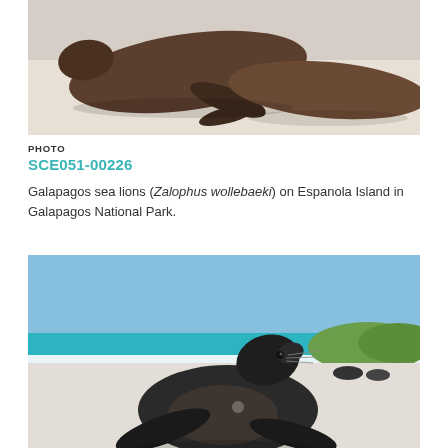[Figure (photo): Two Galapagos sea lions resting on white sandy beach, viewed from above, brown fur, bright sunlit scene]
PHOTO
SCE051-00226
Galapagos sea lions (Zalophus wollebaeki) on Espanola Island in Galapagos National Park.
[Figure (photo): A large Galapagos sea lion posing upright on a white sandy beach with turquoise ocean and green hills in the background, other sea lions visible in the distance]